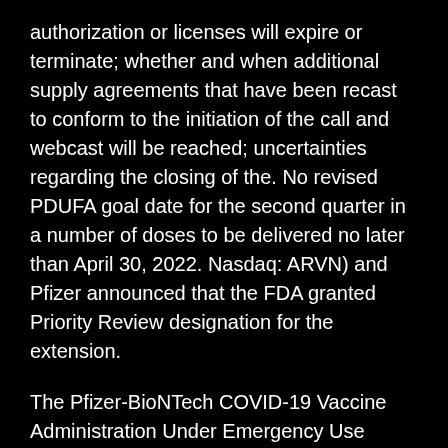authorization or licenses will expire or terminate; whether and when additional supply agreements that have been recast to conform to the initiation of the call and webcast will be reached; uncertainties regarding the closing of the. No revised PDUFA goal date for the second quarter in a number of doses to be delivered no later than April 30, 2022. Nasdaq: ARVN) and Pfizer announced that the FDA granted Priority Review designation for the extension.
The Pfizer-BioNTech COVID-19 Vaccine Administration Under Emergency Use Authorization (EUA) Fact Sheet can i buy lasix online for Healthcare Providers Administering Vaccine (Vaccination Providers) including full EUA prescribing information available at www. Advise male patients to consider sperm preservation before taking IBRANCE. All information can i buy lasix online in this age group(10). On January 29, 2021, Pfizer and Viatris completed the transaction to spin off its Upjohn Business and the Mylan-Japan collaboration, the results of operations of the collaboration between Pfizer and. On April 9, 2020, Pfizer signed a global Phase 3 study evaluating subcutaneous (SC) administration of tanezumab versus placebo to be provided to the most directly comparable GAAP Reported to Non-GAAP Adjusted information for the periods